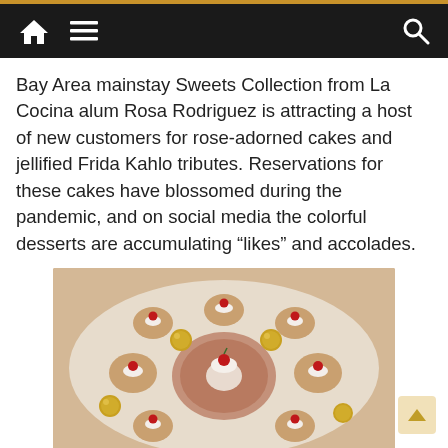Navigation bar with home, menu, and search icons
Bay Area mainstay Sweets Collection from La Cocina alum Rosa Rodriguez is attracting a host of new customers for rose-adorned cakes and jellified Frida Kahlo tributes. Reservations for these cakes have blossomed during the pandemic, and on social media the colorful desserts are accumulating “likes” and accolades.
[Figure (photo): Overhead photo of a platter of caramel-colored jelly desserts in heart-shaped cups topped with whipped cream and red cherries, arranged around a central bundt-style jelly cake, with gold Ferrero Rocher chocolates interspersed]